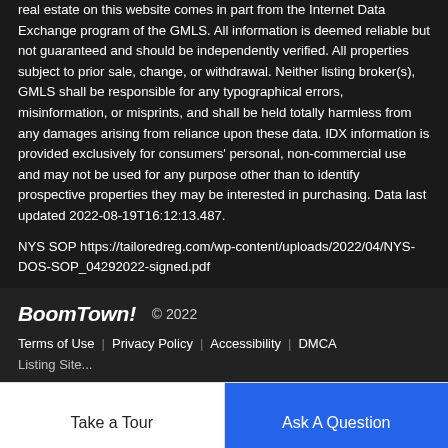real estate on this website comes in part from the Internet Data Exchange program of the GMLS. All information is deemed reliable but not guaranteed and should be independently verified. All properties subject to prior sale, change, or withdrawal. Neither listing broker(s), GMLS shall be responsible for any typographical errors, misinformation, or misprints, and shall be held totally harmless from any damages arising from reliance upon these data. IDX information is provided exclusively for consumers' personal, non-commercial use and may not be used for any purpose other than to identify prospective properties they may be interested in purchasing. Data last updated 2022-08-19T16:12:13.487.
NYS SOP https://tailoredreg.com/wp-content/uploads/2022/04/NYS-DOS-SOP_04292022-signed.pdf
BoomTown! © 2022
Terms of Use | Privacy Policy | Accessibility | DMCA
Take a Tour
Ask A Question